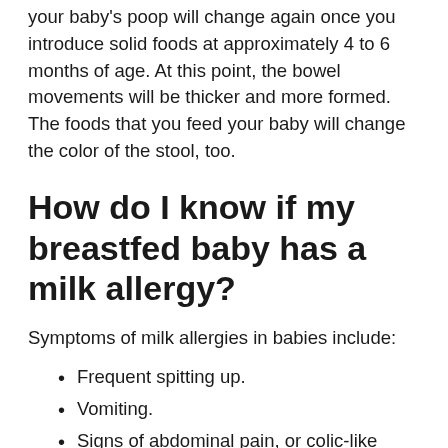your baby's poop will change again once you introduce solid foods at approximately 4 to 6 months of age. At this point, the bowel movements will be thicker and more formed. The foods that you feed your baby will change the color of the stool, too.
How do I know if my breastfed baby has a milk allergy?
Symptoms of milk allergies in babies include:
Frequent spitting up.
Vomiting.
Signs of abdominal pain, or colic-like symptoms, such as excessive crying